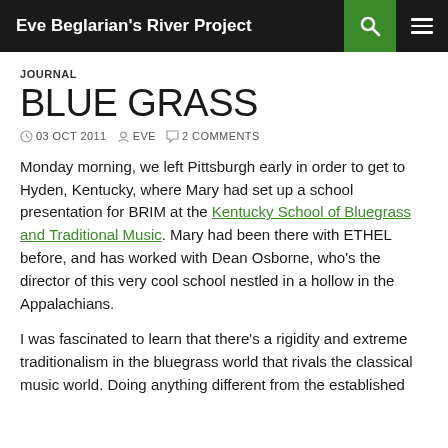Eve Beglarian's River Project
JOURNAL
BLUE GRASS
03 OCT 2011  EVE  2 COMMENTS
Monday morning, we left Pittsburgh early in order to get to Hyden, Kentucky, where Mary had set up a school presentation for BRIM at the Kentucky School of Bluegrass and Traditional Music. Mary had been there with ETHEL before, and has worked with Dean Osborne, who's the director of this very cool school nestled in a hollow in the Appalachians.
I was fascinated to learn that there's a rigidity and extreme traditionalism in the bluegrass world that rivals the classical music world. Doing anything different from the established